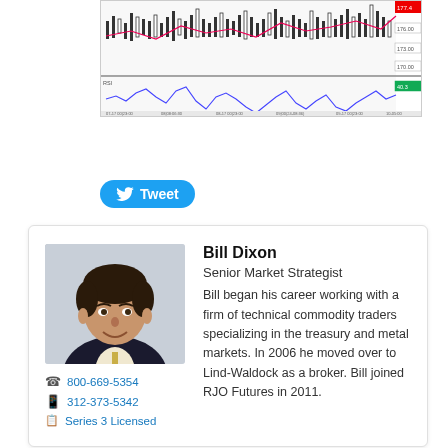[Figure (screenshot): Candlestick/line financial chart showing price action and RSI indicator below, with time axis and price scale.]
[Figure (other): Twitter Tweet button with bird logo.]
[Figure (photo): Headshot photo of Bill Dixon, a man in a dark suit with a light tie, smiling.]
Bill Dixon
Senior Market Strategist
Bill began his career working with a firm of technical commodity traders specializing in the treasury and metal markets. In 2006 he moved over to Lind-Waldock as a broker. Bill joined RJO Futures in 2011.
800-669-5354
312-373-5342
Series 3 Licensed